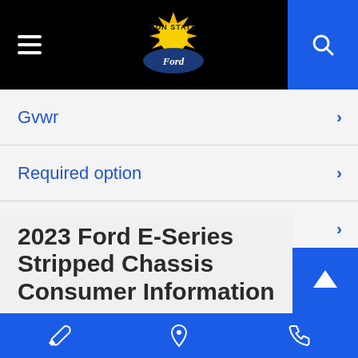[Figure (screenshot): Sun State Ford website header with hamburger menu, logo, and blue search button]
Gvwr
Required option
Additional equipment
Ship thru codes
2023 Ford E-Series Stripped Chassis Consumer Information
[Figure (infographic): Blue footer bar with wrench icon, location pin icon, and phone icon]